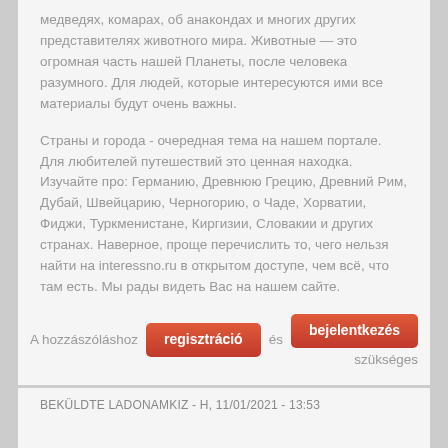медведях, комарах, об анакондах и многих других представителях животного мира. Животные — это огромная часть нашей Планеты, после человека разумного. Для людей, которые интересуются ими все материалы будут очень важны.
Страны и города - очередная тема на нашем портале. Для любителей путешествий это ценная находка. Изучайте про: Германию, Древнюю Грецию, Древний Рим, Дубай, Швейцарию, Черногорию, о Чаде, Хорватии, Фиджи, Туркменистане, Киргизии, Словакии и других странах. Наверное, проще перечислить то, чего нельзя найти на interessno.ru в открытом доступе, чем всё, что там есть. Мы рады видеть Вас на нашем сайте.
A hozzászóláshoz regisztráció és bejelentkezés szükséges
BEKÜLDTE LADONAMKIZ - H, 11/01/2021 - 13:53